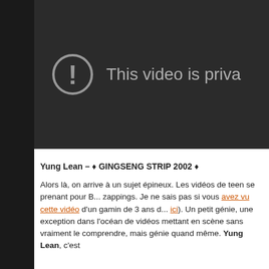[Figure (screenshot): A dark YouTube-style video player showing 'This video is priva...' with a circular exclamation mark icon on a dark gray background.]
Yung Lean – ♦ GINGSENG STRIP 2002 ♦
Alors là, on arrive à un sujet épineux. Les vidéos de teen se prenant pour B... zappings. Je ne sais pas si vous avez vu cette vidéo d'un gamin de 3 ans d... ici). Un petit génie, une exception dans l'océan de vidéos mettant en scène sans vraiment le comprendre, mais génie quand même. Yung Lean, c'est